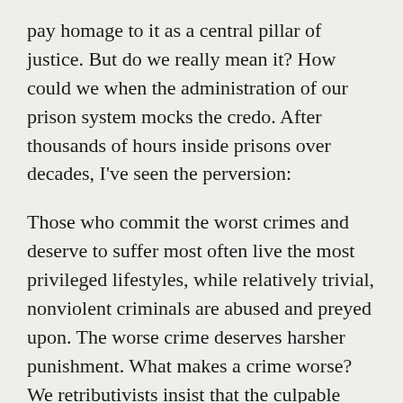pay homage to it as a central pillar of justice. But do we really mean it? How could we when the administration of our prison system mocks the credo. After thousands of hours inside prisons over decades, I've seen the perversion:
Those who commit the worst crimes and deserve to suffer most often live the most privileged lifestyles, while relatively trivial, nonviolent criminals are abused and preyed upon. The worse crime deserves harsher punishment. What makes a crime worse? We retributivists insist that the culpable mental state—the vicious attitude of the worst of our violent criminals—makes them deserve greater punishment,